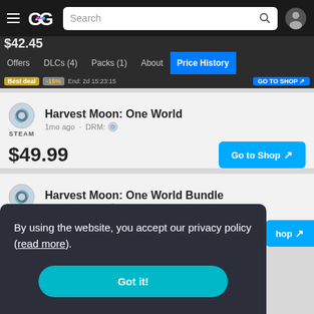GG — Search bar navigation header
Offers | DLCs (4) | Packs (1) | About | Price History
Best deal  -15%  End: 2d 15:23:15  GO TO SHOP
Harvest Moon: One World — 1mo ago · DRM: Steam — $49.99 — Go to Shop
Harvest Moon: One World Bundle — 1mo ago · DRM: Steam · Includes 5 items — Go to Shop
By using the website, you accept our privacy policy (read more).
Got it!